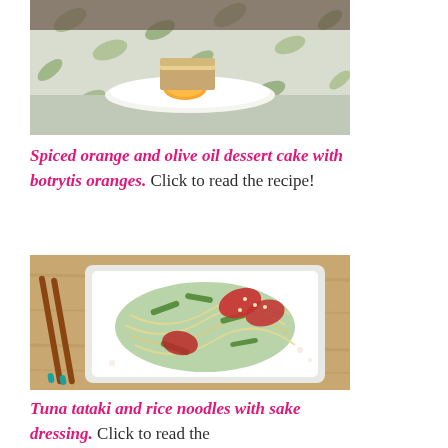[Figure (photo): A slice of spiced orange and olive oil dessert cake on a white plate with orange garnish, placed on a white tablecloth with green leaf pattern.]
Spiced orange and olive oil dessert cake with botrytis oranges. Click to read the recipe!
[Figure (photo): A white square plate with tuna tataki and rice noodles with green vegetables, topped with sesame seeds, with chopsticks placed beside the plate on a wooden surface.]
Tuna tataki and rice noodles with sake dressing. Click to read the